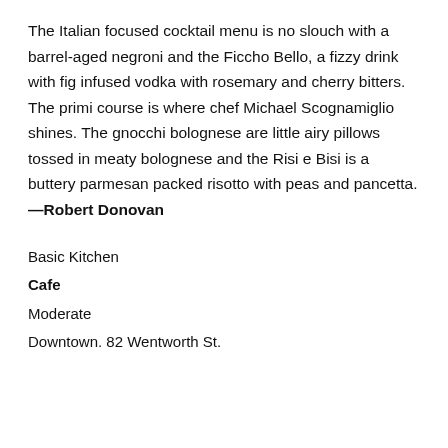The Italian focused cocktail menu is no slouch with a barrel-aged negroni and the Ficcho Bello, a fizzy drink with fig infused vodka with rosemary and cherry bitters. The primi course is where chef Michael Scognamiglio shines. The gnocchi bolognese are little airy pillows tossed in meaty bolognese and the Risi e Bisi is a buttery parmesan packed risotto with peas and pancetta. —Robert Donovan
Basic Kitchen
Cafe
Moderate
Downtown. 82 Wentworth St.